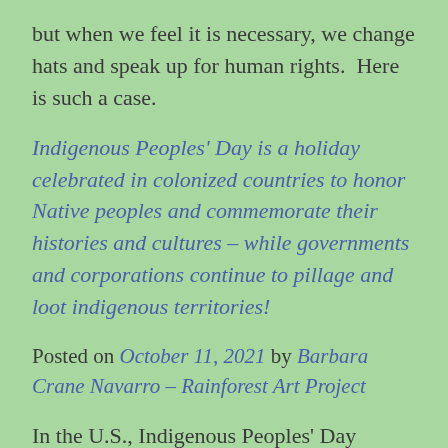but when we feel it is necessary, we change hats and speak up for human rights.  Here is such a case.
Indigenous Peoples' Day is a holiday celebrated in colonized countries to honor Native peoples and commemorate their histories and cultures – while governments and corporations continue to pillage and loot indigenous territories!
Posted on October 11, 2021 by Barbara Crane Navarro – Rainforest Art Project
In the U.S., Indigenous Peoples' Day evolved as an alternative to « Invasion Day » – Columbus Day – which celebrated Columbus' arrival in